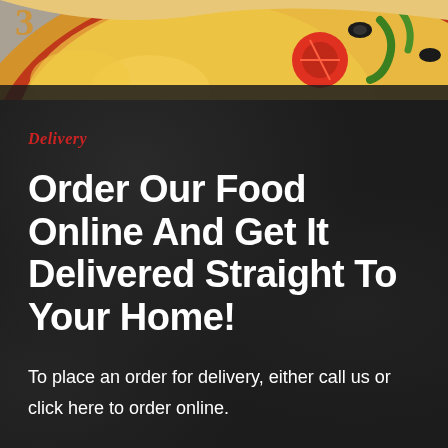[Figure (photo): Top portion of a pizza with various toppings including tomatoes, green peppers, olives, visible on a rustic dark background]
Delivery
Order Our Food Online And Get It Delivered Straight To Your Home!
To place an order for delivery, either call us or click here to order online.